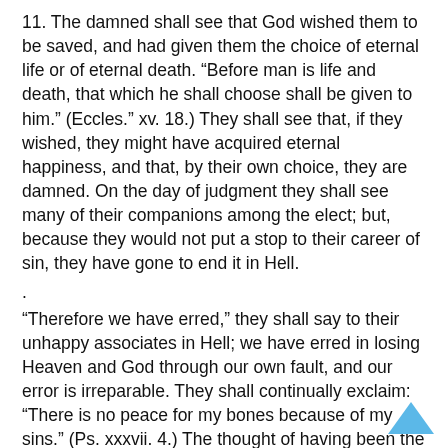11. The damned shall see that God wished them to be saved, and had given them the choice of eternal life or of eternal death. “Before man is life and death, that which he shall choose shall be given to him.” (Eccles.” xv. 18.) They shall see that, if they wished, they might have acquired eternal happiness, and that, by their own choice, they are damned. On the day of judgment they shall see many of their companions among the elect; but, because they would not put a stop to their career of sin, they have gone to end it in Hell.
.
“Therefore we have erred,” they shall say to their unhappy associates in Hell; we have erred in losing Heaven and God through our own fault, and our error is irreparable. They shall continually exclaim: “There is no peace for my bones because of my sins.” (Ps. xxxvii. 4.) The thought of having been the cause of their own damnation produces an internal pain, which enters into the very bones of the damned, and prevents them from